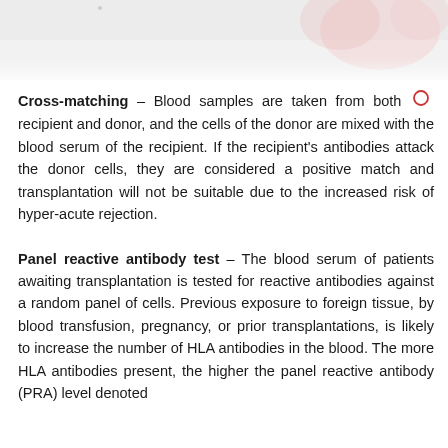[Figure (photo): Header image showing a blurred medical/laboratory scene with pink and white tones]
Cross-matching – Blood samples are taken from both recipient and donor, and the cells of the donor are mixed with the blood serum of the recipient. If the recipient's antibodies attack the donor cells, they are considered a positive match and transplantation will not be suitable due to the increased risk of hyper-acute rejection.
Panel reactive antibody test – The blood serum of patients awaiting transplantation is tested for reactive antibodies against a random panel of cells. Previous exposure to foreign tissue, by blood transfusion, pregnancy, or prior transplantations, is likely to increase the number of HLA antibodies in the blood. The more HLA antibodies present, the higher the panel reactive antibody (PRA) level denoted